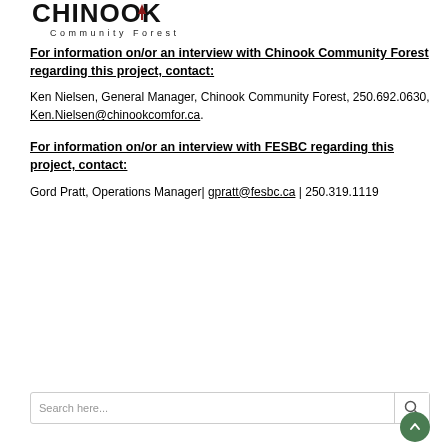[Figure (logo): Chinook Community Forest logo with stylized text and tree/arrow graphic]
For information on/or an interview with Chinook Community Forest regarding this project, contact:
Ken Nielsen, General Manager, Chinook Community Forest, 250.692.0630, Ken.Nielsen@chinookcomfor.ca.
For information on/or an interview with FESBC regarding this project, contact:
Gord Pratt, Operations Manager| gpratt@fesbc.ca | 250.319.1119